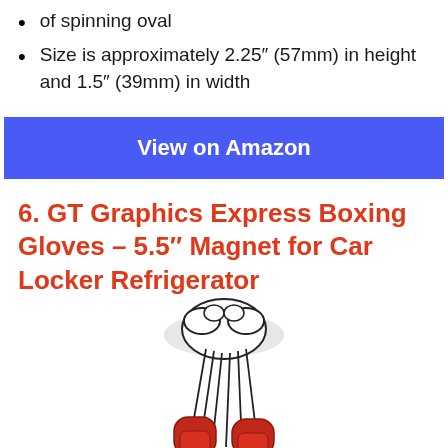of spinning oval
Size is approximately 2.25″ (57mm) in height and 1.5″ (39mm) in width
View on Amazon
6. GT Graphics Express Boxing Gloves – 5.5″ Magnet for Car Locker Refrigerator
[Figure (illustration): Illustration of red boxing gloves hanging by their laces, partially cropped at the bottom of the page]